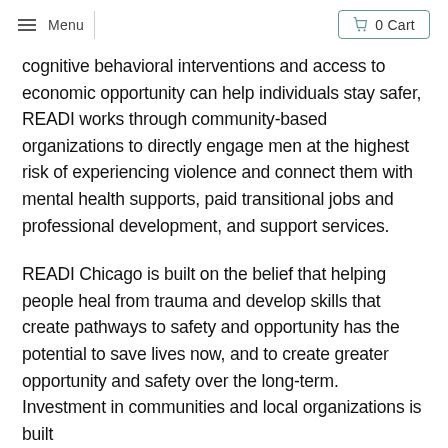Menu | 0 Cart
cognitive behavioral interventions and access to economic opportunity can help individuals stay safer, READI works through community-based organizations to directly engage men at the highest risk of experiencing violence and connect them with mental health supports, paid transitional jobs and professional development, and support services.
READI Chicago is built on the belief that helping people heal from trauma and develop skills that create pathways to safety and opportunity has the potential to save lives now, and to create greater opportunity and safety over the long-term. Investment in communities and local organizations is built